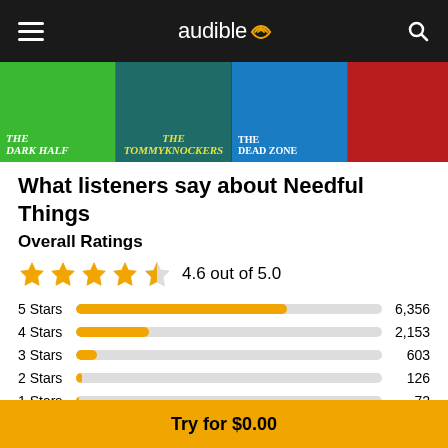audible
[Figure (illustration): Horizontal scroll of audiobook covers: The Dark Half (green), The Tommyknockers (teal), The Dead Zone (blue), and a partially visible red cover]
What listeners say about Needful Things
Overall Ratings
[Figure (other): 4 filled orange stars and 1 half star, rating 4.6 out of 5.0]
| Stars | Bar | Count |
| --- | --- | --- |
| 5 Stars |  | 6,356 |
| 4 Stars |  | 2,153 |
| 3 Stars |  | 603 |
| 2 Stars |  | 126 |
| 1 Stars |  | 72 |
Try for $0.00